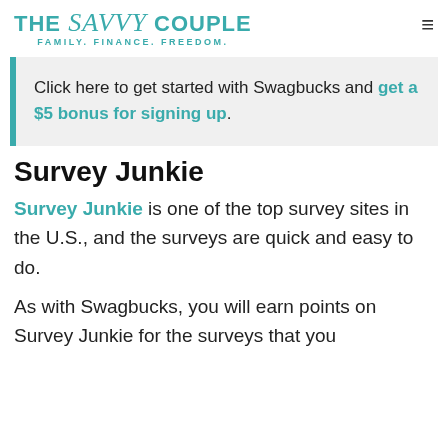THE Savvy COUPLE — FAMILY. FINANCE. FREEDOM.
Click here to get started with Swagbucks and get a $5 bonus for signing up.
Survey Junkie
Survey Junkie is one of the top survey sites in the U.S., and the surveys are quick and easy to do.
As with Swagbucks, you will earn points on Survey Junkie for the surveys that you